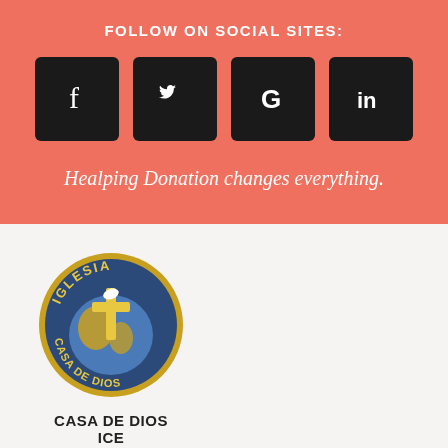FOLLOW ON SOCIAL SITES:
[Figure (infographic): Four social media icon buttons (Facebook, Twitter, Google+, LinkedIn) displayed as dark square tiles on a coral/salmon background]
Healping Donation changes everything.
[Figure (logo): Circular logo for Iglesia Casa de Dios featuring a globe with a cross and dove, surrounded by the text IGLESIA and CASA DE DIOS in gold on a dark blue background]
CASA DE DIOS
ICE